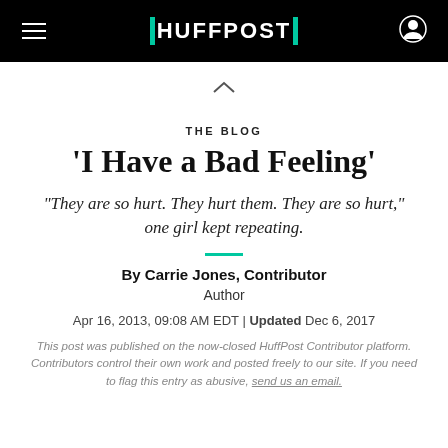HUFFPOST
THE BLOG
'I Have a Bad Feeling'
"They are so hurt. They hurt them. They are so hurt," one girl kept repeating.
By Carrie Jones, Contributor
Author
Apr 16, 2013, 09:08 AM EDT | Updated Dec 6, 2017
This post was published on the now-closed HuffPost Contributor platform. Contributors control their own work and posted freely to our site. If you need to flag this entry as abusive, send us an email.